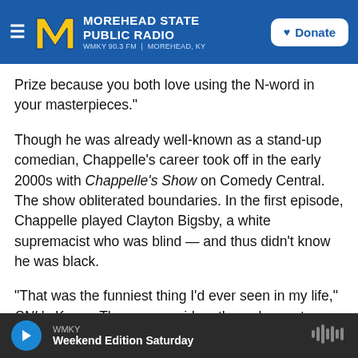MOREHEAD STATE PUBLIC RADIO — WMKY 90.3 FM | MOREHEAD, KY — Donate
Prize because you both love using the N-word in your masterpieces."
Though he was already well-known as a stand-up comedian, Chappelle's career took off in the early 2000s with Chappelle's Show on Comedy Central. The show obliterated boundaries. In the first episode, Chappelle played Clayton Bigsby, a white supremacist who was blind — and thus didn't know he was black.
"That was the funniest thing I'd ever seen in my life," SNL's Kenan Thompson said on the red carpet.
WMKY — Weekend Edition Saturday